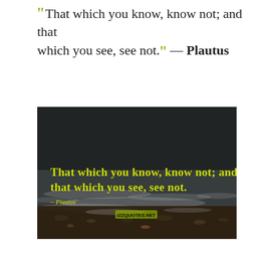“ That which you know, know not; and that which you see, see not.” — Plautus
[Figure (photo): A dark atmospheric photo of ocean waves crashing on a rocky beach at dusk or night, with the quote 'That which you know, know not; and that which you see, see not.' overlaid in yellow-green text, and '~ Plautus' below it in smaller yellow-green text. A watermark/logo appears at the center bottom area.]